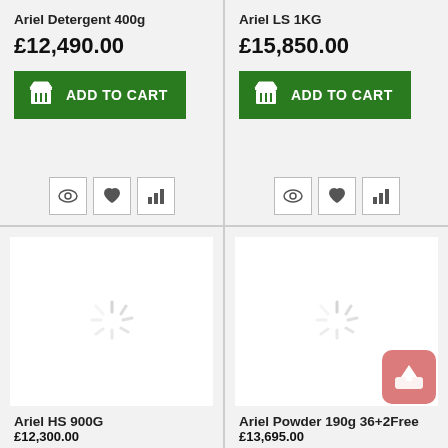Ariel Detergent 400g
£12,490.00
ADD TO CART
Ariel LS 1KG
£15,850.00
ADD TO CART
[Figure (illustration): Loading spinner placeholder for product image]
Ariel HS 900G
[Figure (illustration): Loading spinner placeholder for product image, with upload badge in bottom right corner]
Ariel Powder 190g 36+2Free